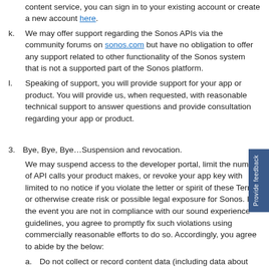comply with the Sonos Music API terms and conditions. As a content service, you can sign in to your existing account or create a new account here.
k. We may offer support regarding the Sonos APIs via the community forums on sonos.com but have no obligation to offer any support related to other functionality of the Sonos system that is not a supported part of the Sonos platform.
l. Speaking of support, you will provide support for your app or product. You will provide us, when requested, with reasonable technical support to answer questions and provide consultation regarding your app or product.
3. Bye, Bye, Bye…Suspension and revocation.
We may suspend access to the developer portal, limit the number of API calls your product makes, or revoke your app key with limited to no notice if you violate the letter or spirit of these Terms, or otherwise create risk or possible legal exposure for Sonos. In the event you are not in compliance with our sound experience guidelines, you agree to promptly fix such violations using commercially reasonable efforts to do so. Accordingly, you agree to abide by the below:
a. Do not collect or record content data (including data about